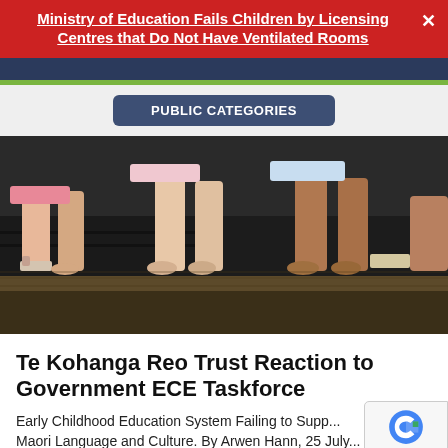Ministry of Education Fails Children by Licensing Centres that Do Not Have Ventilated Rooms
PUBLIC CATEGORIES
[Figure (photo): Close-up photo of children's bare feet and lower legs standing on a wooden step or bench, with one child wearing a sandal on one foot.]
Te Kohanga Reo Trust Reaction to Government ECE Taskforce
Early Childhood Education System Failing to Supp... Maori Language and Culture. By Arwen Hann, 25 July...